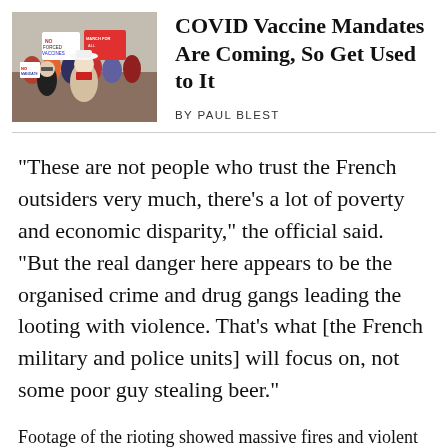[Figure (photo): Protest crowd with signs reading 'No Forced Vaccines' and 'March for All', people holding anti-vaccine mandate signs outdoors]
COVID Vaccine Mandates Are Coming, So Get Used to It
BY PAUL BLEST
“These are not people who trust the French outsiders very much, there’s a lot of poverty and economic disparity,” the official said. “But the real danger here appears to be the organised crime and drug gangs leading the looting with violence. That’s what [the French military and police units] will focus on, not some poor guy stealing beer.”
Footage of the rioting showed massive fires and violent clashes with police and reports from